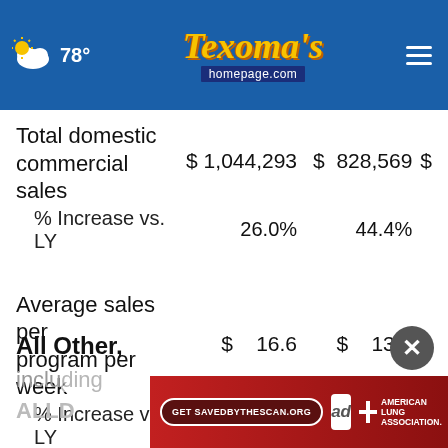78° Texoma's homepage.com
|  | Col1 | Col2 | Col3 |
| --- | --- | --- | --- |
| Total domestic commercial sales | $ 1,044,293 | $ 828,569 | $ |
| % Increase vs. LY | 26.0% | 44.4% |  |
| Average sales per program per week | $ 16.6 | $ 13.5 | $ |
| % Increase vs. LY | 23.0% | 39.2% |  |
All Other,
including
ALLD